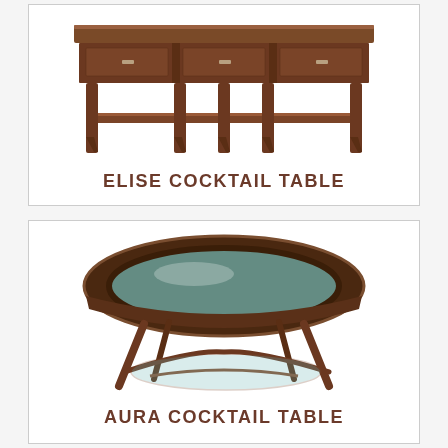[Figure (photo): Elise Cocktail Table — a rectangular dark wood coffee table with three drawers and a lower shelf, on tapered legs]
ELISE COCKTAIL TABLE
[Figure (photo): Aura Cocktail Table — a round dark wood cocktail table with an oval glass top insert, curved apron, tapered legs, and a lower glass shelf with curved stretchers]
AURA COCKTAIL TABLE